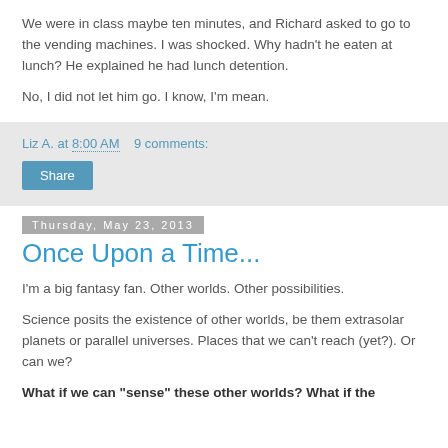We were in class maybe ten minutes, and Richard asked to go to the vending machines. I was shocked. Why hadn't he eaten at lunch? He explained he had lunch detention.
No, I did not let him go. I know, I'm mean.
Liz A. at 8:00 AM   9 comments:
Share
Thursday, May 23, 2013
Once Upon a Time...
I'm a big fantasy fan. Other worlds. Other possibilities.
Science posits the existence of other worlds, be them extrasolar planets or parallel universes. Places that we can't reach (yet?). Or can we?
What if we can "sense" these other worlds? What if the